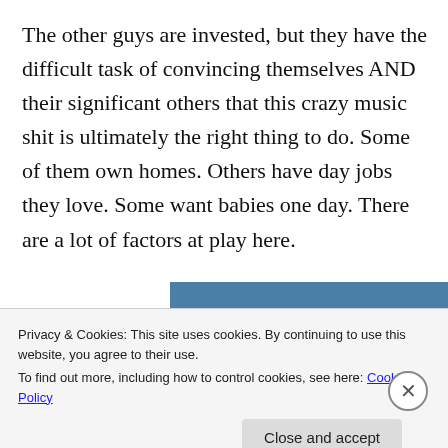The other guys are invested, but they have the difficult task of convincing themselves AND their significant others that this crazy music shit is ultimately the right thing to do. Some of them own homes. Others have day jobs they love. Some want babies one day. There are a lot of factors at play here.
[Figure (other): Partial view of a blue bar chart tab/navigation element, partially obscured by cookie consent banner]
Privacy & Cookies: This site uses cookies. By continuing to use this website, you agree to their use. To find out more, including how to control cookies, see here: Cookie Policy